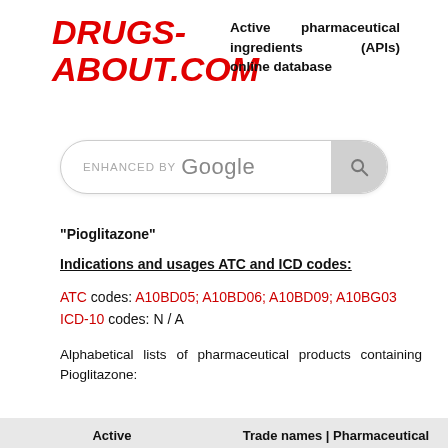[Figure (logo): DRUGS-ABOUT.COM logo in red italic bold text]
Active pharmaceutical ingredients (APIs) online database
[Figure (screenshot): Google enhanced search bar with search button]
"Pioglitazone"
Indications and usages ATC and ICD codes:
ATC codes: A10BD05; A10BD06; A10BD09; A10BG03
ICD-10 codes: N / A
Alphabetical lists of pharmaceutical products containing Pioglitazone:
| Active | Trade names | Pharmaceutical |
| --- | --- |